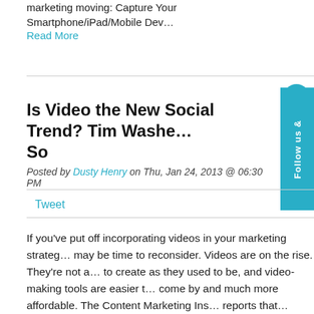marketing moving: Capture Your Smartphone/iPad/Mobile Dev…
Read More
Is Video the New Social Trend? Tim Washe… So
Posted by Dusty Henry on Thu, Jan 24, 2013 @ 06:30 PM
Tweet
If you've put off incorporating videos in your marketing strateg… may be time to reconsider. Videos are on the rise. They're not a… to create as they used to be, and video-making tools are easier t… come by and much more affordable. The Content Marketing Ins… reports that… Read More